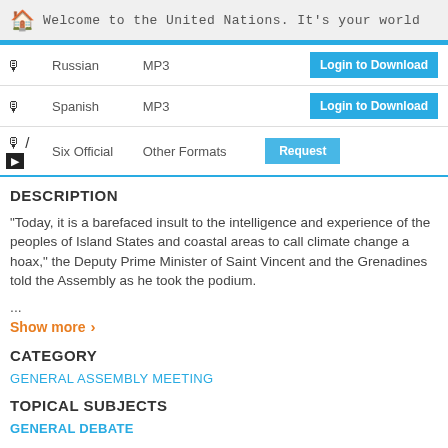Welcome to the United Nations. It's your world
| Icon | Language | Format | Action |
| --- | --- | --- | --- |
| 🎙 | Russian | MP3 | Login to Download |
| 🎙 | Spanish | MP3 | Login to Download |
| 🎙 / 🎥 | Six Official | Other Formats | Request |
DESCRIPTION
“Today, it is a barefaced insult to the intelligence and experience of the peoples of Island States and coastal areas to call climate change a hoax,” the Deputy Prime Minister of Saint Vincent and the Grenadines told the Assembly as he took the podium.
...
Show more
CATEGORY
GENERAL ASSEMBLY MEETING
TOPICAL SUBJECTS
GENERAL DEBATE